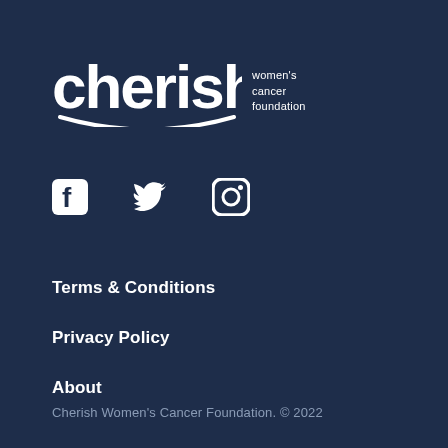[Figure (logo): Cherish Women's Cancer Foundation logo — large white wordmark 'cherish' with a smile arc underneath, and tagline 'women's cancer foundation' to the right]
[Figure (infographic): Social media icons: Facebook, Twitter, Instagram — white icons on dark navy background]
Terms & Conditions
Privacy Policy
About
Cherish Women's Cancer Foundation. © 2022